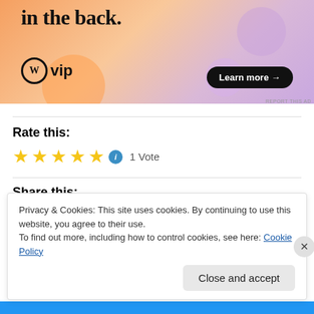[Figure (illustration): WordPress VIP advertisement banner with text 'in the back.' and a 'Learn more →' button on an orange-pink gradient background with blob shapes.]
Rate this:
★★★★★  1 Vote
Share this:
Privacy & Cookies: This site uses cookies. By continuing to use this website, you agree to their use.
To find out more, including how to control cookies, see here: Cookie Policy
Close and accept